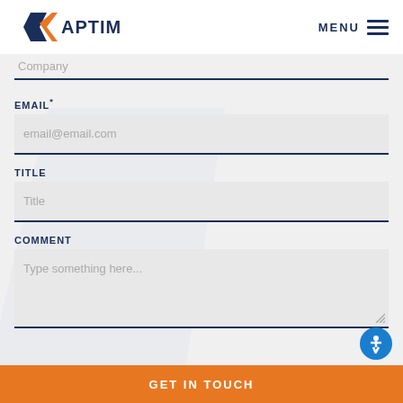[Figure (logo): APTIM company logo with orange and navy arrow icon and bold APTIM text]
MENU
Company
EMAIL*
email@email.com
TITLE
Title
COMMENT
Type something here...
GET IN TOUCH